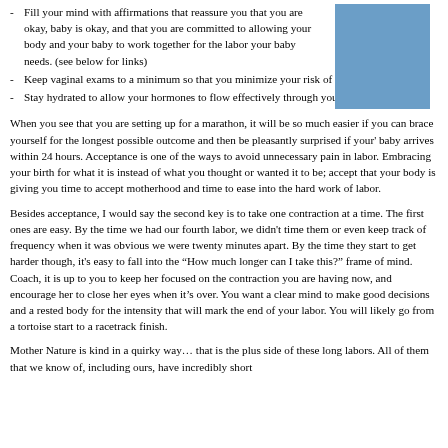- Fill your mind with affirmations that reassure you that you are okay, baby is okay, and that you are committed to allowing your body and your baby to work together for the labor your baby needs. (see below for links)
- Keep vaginal exams to a minimum so that you minimize your risk of infection.
- Stay hydrated to allow your hormones to flow effectively through your body.
When you see that you are setting up for a marathon, it will be so much easier if you can brace yourself for the longest possible outcome and then be pleasantly surprised if your' baby arrives within 24 hours.  Acceptance is one of the ways to avoid unnecessary pain in labor.  Embracing your birth for what it is instead of what you thought or wanted it to be; accept that your body is giving you time to accept motherhood and time to ease into the hard work of labor.
Besides acceptance, I would say the second key is to take one contraction at a time.  The first ones are easy.  By the time we had our fourth labor, we didn't time them or even keep track of frequency when it was obvious we were twenty minutes apart.  By the time they start to get harder though, it's easy to fall into the “How much longer can I take this?” frame of mind.  Coach, it is up to you to keep her focused on the contraction you are having now, and encourage her to close her eyes when it’s over.  You want a clear mind to make good decisions and a rested body for the intensity that will mark the end of your labor.  You will likely go from a tortoise start to a racetrack finish.
Mother Nature is kind in a quirky way… that is the plus side of these long labors.  All of them that we know of, including ours, have incredibly short